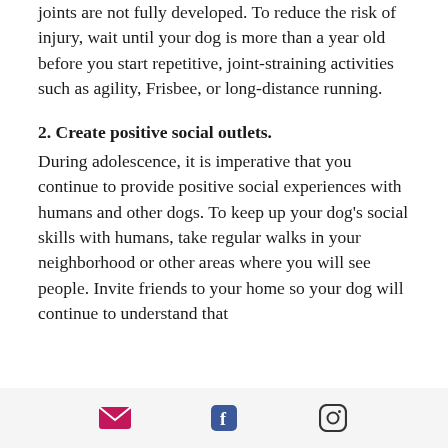joints are not fully developed. To reduce the risk of injury, wait until your dog is more than a year old before you start repetitive, joint-straining activities such as agility, Frisbee, or long-distance running.
2. Create positive social outlets.
During adolescence, it is imperative that you continue to provide positive social experiences with humans and other dogs. To keep up your dog's social skills with humans, take regular walks in your neighborhood or other areas where you will see people. Invite friends to your home so your dog will continue to understand that
email | facebook | instagram